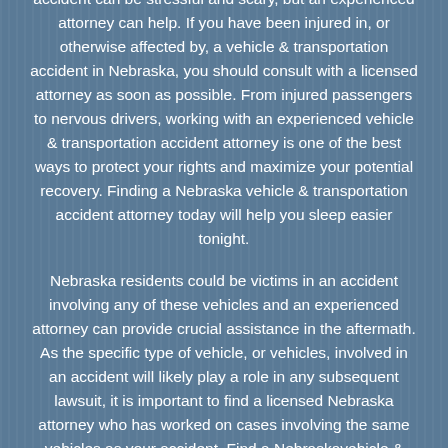The days and weeks following a vehicle & transportation accident can be stressful and scary, but an experienced attorney can help. If you have been injured in, or otherwise affected by, a vehicle & transportation accident in Nebraska, you should consult with a licensed attorney as soon as possible. From injured passengers to nervous drivers, working with an experienced vehicle & transportation accident attorney is one of the best ways to protect your rights and maximize your potential recovery. Finding a Nebraska vehicle & transportation accident attorney today will help you sleep easier tonight.
Nebraska residents could be victims in an accident involving any of these vehicles and an experienced attorney can provide crucial assistance in the aftermath. As the specific type of vehicle, or vehicles, involved in an accident will likely play a role in any subsequent lawsuit, it is important to find a licensed Nebraska attorney who has worked on cases involving the same vehicles as your accident. Find a Nebraskavehicle & transportation accident attorney now!